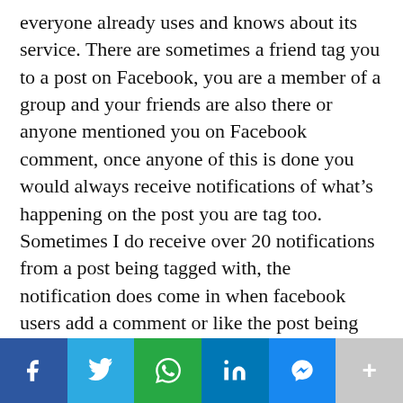everyone already uses and knows about its service. There are sometimes a friend tag you to a post on Facebook, you are a member of a group and your friends are also there or anyone mentioned you on Facebook comment, once anyone of this is done you would always receive notifications of what's happening on the post you are tag too. Sometimes I do receive over 20 notifications from a post being tagged with, the notification does come in when facebook users add a comment or like the post being tagged to but sometimes this so-called notification is useless as some comments may not be useful to me. The notification just gets my tray loaded with none useful notifications and I
[Figure (infographic): Social media share bar with icons: Facebook (blue), Twitter (light blue), WhatsApp (green), LinkedIn (blue), Messenger (blue), Plus/more (grey)]